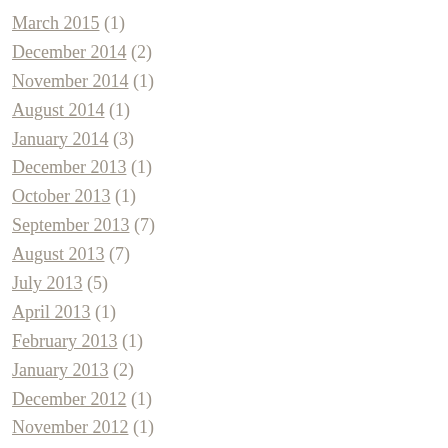March 2015 (1)
December 2014 (2)
November 2014 (1)
August 2014 (1)
January 2014 (3)
December 2013 (1)
October 2013 (1)
September 2013 (7)
August 2013 (7)
July 2013 (5)
April 2013 (1)
February 2013 (1)
January 2013 (2)
December 2012 (1)
November 2012 (1)